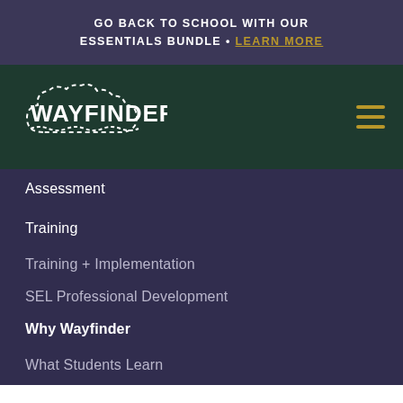GO BACK TO SCHOOL WITH OUR ESSENTIALS BUNDLE • LEARN MORE
[Figure (logo): Wayfinder logo in white with dashed cloud-like border on dark green background]
Assessment
Training
Training + Implementation
SEL Professional Development
Why Wayfinder
What Students Learn